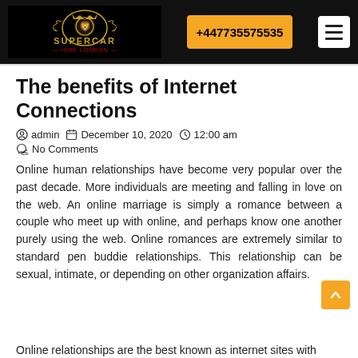Supercar Hire London | +447735575535
The benefits of Internet Connections
admin  December 10, 2020  12:00 am  No Comments
Online human relationships have become very popular over the past decade. More individuals are meeting and falling in love on the web. An online marriage is simply a romance between a couple who meet up with online, and perhaps know one another purely using the web. Online romances are extremely similar to standard pen buddie relationships. This relationship can be sexual, intimate, or depending on other organization affairs.